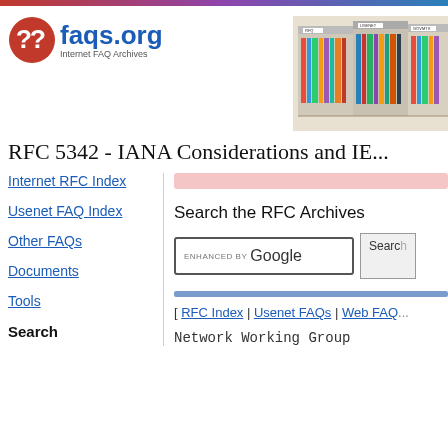[Figure (logo): faqs.org logo with red question mark icon and blue text]
[Figure (illustration): Bookshelf image showing labeled archive shelves for RFQ, USENET, GOVMTS]
RFC 5342 - IANA Considerations and IE...
Internet RFC Index
Usenet FAQ Index
Other FAQs
Documents
Tools
Search
Search the RFC Archives
[ RFC Index | Usenet FAQs | Web FAQ...
Network Working Group